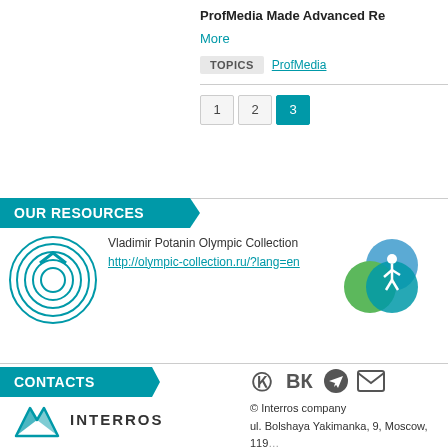ProfMedia Made Advanced Re
More
TOPICS  ProfMedia
1  2  3
OUR RESOURCES
[Figure (logo): Vladimir Potanin Olympic Collection circular concentric logo in teal]
Vladimir Potanin Olympic Collection
http://olympic-collection.ru/?lang=en
[Figure (logo): Colorful overlapping circles logo (green, blue, teal) with running figure]
CONTACTS
[Figure (logo): Interros company logo — stylized mountain peaks with INTERROS text]
© Interros company
ul. Bolshaya Yakimanka, 9, Moscow, 119
phone: +7 495 785 6363, fax: +7 495 785
e-mail: info@interros.ru / www.interros.r